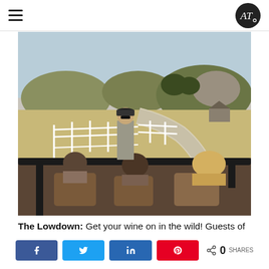AT logo and hamburger menu
[Figure (photo): People in an open-top vehicle/safari truck on a ranch property with white fences, winding road, hills, and trees in the background. A guide stands at the front of the vehicle speaking to seated guests.]
The Lowdown: Get your wine on in the wild! Guests of
0 SHARES